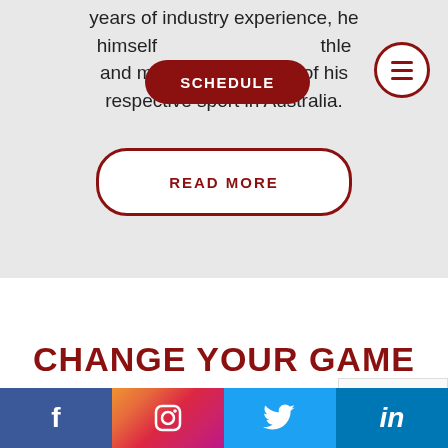years of industry experience, he himself [SCHEDULE] athlete and making it to the top of his respective sport in Australia.
[Figure (screenshot): READ MORE button - white pill with dark red border and red uppercase text]
CHANGE YOUR GAME
Social media links: Facebook, Instagram, Twitter, LinkedIn